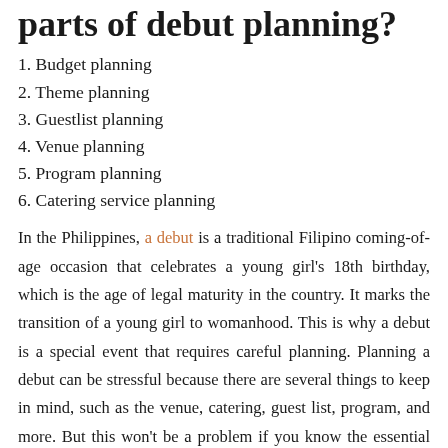parts of debut planning?
1. Budget planning
2. Theme planning
3. Guestlist planning
4. Venue planning
5. Program planning
6. Catering service planning
In the Philippines, a debut is a traditional Filipino coming-of-age occasion that celebrates a young girl’s 18th birthday, which is the age of legal maturity in the country. It marks the transition of a young girl to womanhood. This is why a debut is a special event that requires careful planning. Planning a debut can be stressful because there are several things to keep in mind, such as the venue, catering, guest list, program, and more. But this won’t be a problem if you know the essential parts of debut planning. Continue reading on to have a hassle-free and magical debut that everyone will remember.